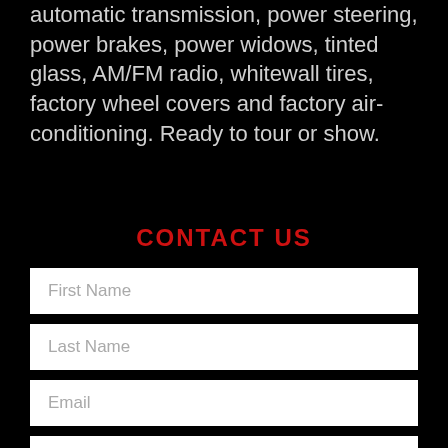automatic transmission, power steering, power brakes, power widows, tinted glass, AM/FM radio, whitewall tires, factory wheel covers and factory air-conditioning. Ready to tour or show.
CONTACT US
First Name
Last Name
Email
Phone
Hi, I would like more information about: [Stock No: 2010] 1964 Chevrolet Corvette